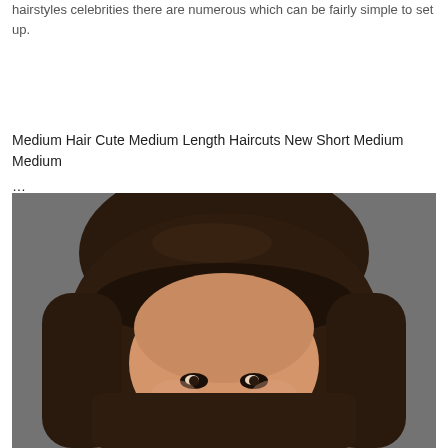hairstyles celebrities there are numerous which can be fairly simple to set up.
Medium Hair Cute Medium Length Haircuts New Short Medium Medium ...
[Figure (photo): Portrait photo of a young woman with medium-length dark brown hair with bangs, photographed against a gray background, looking slightly downward toward the camera.]